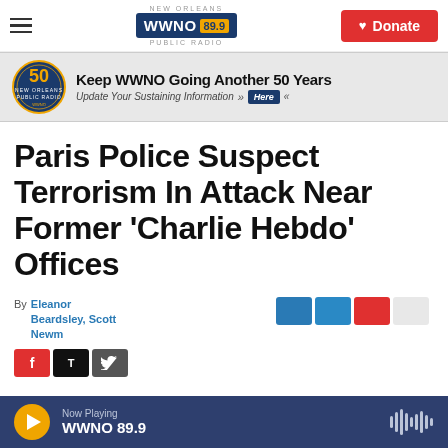WWNO 89.9 New Orleans Public Radio — Navigation bar with Donate button
[Figure (infographic): WWNO 50th anniversary banner ad: 'Keep WWNO Going Another 50 Years — Update Your Sustaining Information >> Here <<']
Paris Police Suspect Terrorism In Attack Near Former 'Charlie Hebdo' Offices
By Eleanor Beardsley, Scott Newman
Now Playing WWNO 89.9